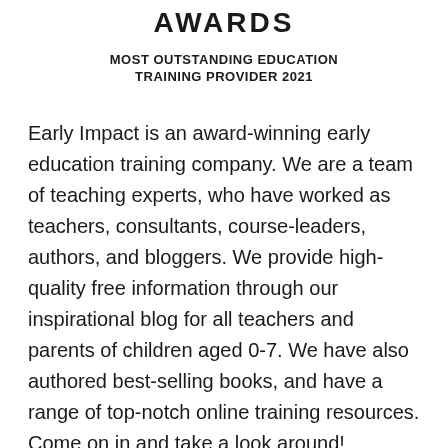AWARDS
MOST OUTSTANDING EDUCATION TRAINING PROVIDER 2021
Early Impact is an award-winning early education training company. We are a team of teaching experts, who have worked as teachers, consultants, course-leaders, authors, and bloggers. We provide high-quality free information through our inspirational blog for all teachers and parents of children aged 0-7. We have also authored best-selling books, and have a range of top-notch online training resources. Come on in and take a look around!